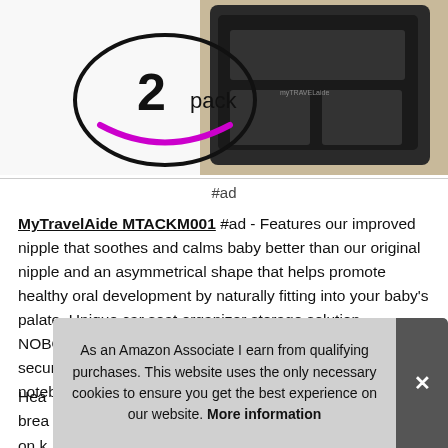[Figure (photo): Product photo showing a car seat organizer/back seat organizer with a '2 pack' oval badge in the top-left corner with a magenta smile arc, and an Amazon product image of a black organizer on the right.]
#ad
MyTravelAide MTACKM001 #ad - Features our improved nipple that soothes and calms baby better than our original nipple and an asymmetrical shape that helps promote healthy oral development by naturally fitting into your baby's palate. Unique car seat organizer storage solution -NOBODY else offers a deep, large storage pocket firmly secured by Velcro for those bigger items like books, notebooks & iPads.
Hea... brea... on k... inte... bac...
As an Amazon Associate I earn from qualifying purchases. This website uses the only necessary cookies to ensure you get the best experience on our website. More information